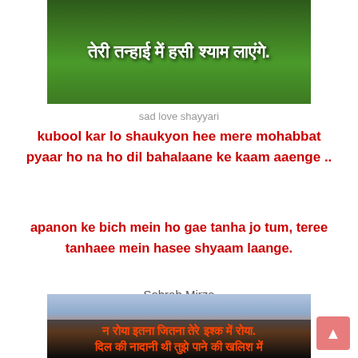[Figure (photo): Green leafy background with Hindi text in white bold font reading: तेरी तन्हाई में हसी श्याम लाएंगे.]
sad love shayyari
kubool kar lo shaukyon hee mere mohabbat pyaar ho na ho dil bahalaane ke kaam aaenge ..
apanon ke bich mein ho gae tanha jo tum, teree tanhaee mein hasee shyaam laange.
Sohrab Mirza
[Figure (photo): Dark moody background with silhouette figure, with Hindi/Urdu text in red/orange: न रोया इतना जितना तेरे इश्क में रोया. दिल की नादानी थी तुझे पाने की खलिश में]